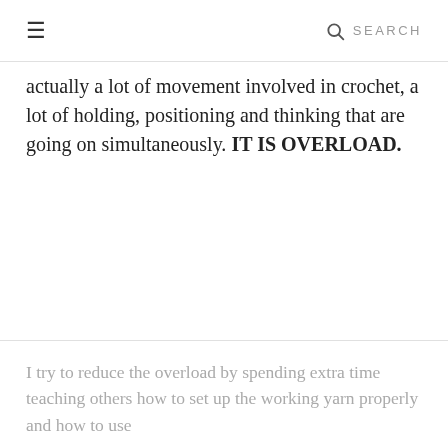≡  SEARCH
actually a lot of movement involved in crochet, a lot of holding, positioning and thinking that are going on simultaneously. IT IS OVERLOAD.
I try to reduce the overload by spending extra time teaching others how to set up the working yarn properly and how to use